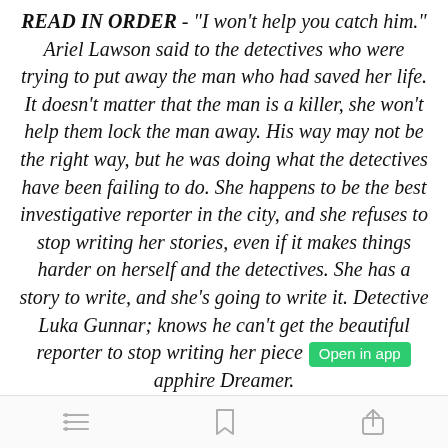READ IN ORDER - "I won't help you catch him." Ariel Lawson said to the detectives who were trying to put away the man who had saved her life. It doesn't matter that the man is a killer, she won't help them lock the man away. His way may not be the right way, but he was doing what the detectives have been failing to do. She happens to be the best investigative reporter in the city, and she refuses to stop writing her stories, even if it makes things harder on herself and the detectives. She has a story to write, and she's going to write it. Detective Luka Gunnar; knows he can't get the beautiful reporter to stop writing her piece [Open in app] apphire Dreamer. Even if it does make life harder on him and his
[menu icon] [bookmark icon] [share icon]